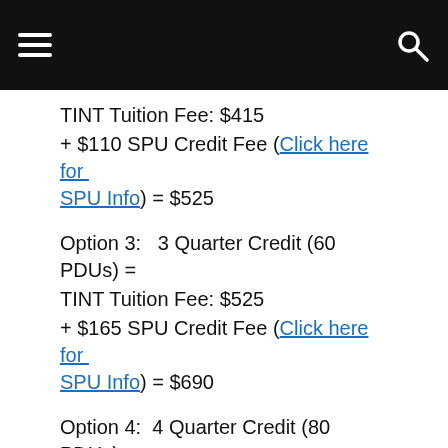Navigation bar with hamburger menu and search icon
TINT Tuition Fee: $415
+ $110 SPU Credit Fee (Click here for SPU Info) = $525
Option 3:   3 Quarter Credit (60 PDUs) = TINT Tuition Fee: $525
+ $165 SPU Credit Fee (Click here for SPU Info) = $690
Option 4:  4 Quarter Credit (80 PDUs) = TINT Tuition Fee: $625
+ $220 SPU Credit Fee (Click here for